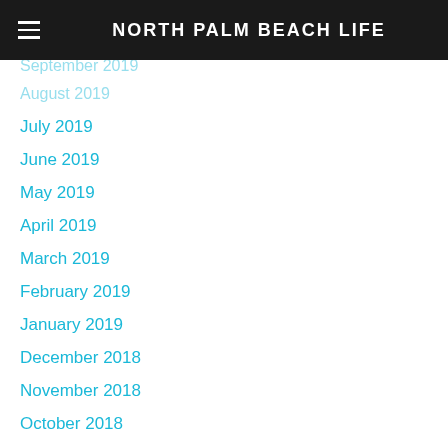NORTH PALM BEACH LIFE
September 2019
August 2019
July 2019
June 2019
May 2019
April 2019
March 2019
February 2019
January 2019
December 2018
November 2018
October 2018
September 2018
August 2018
July 2018
June 2018
May 2018
April 2018
March 2018